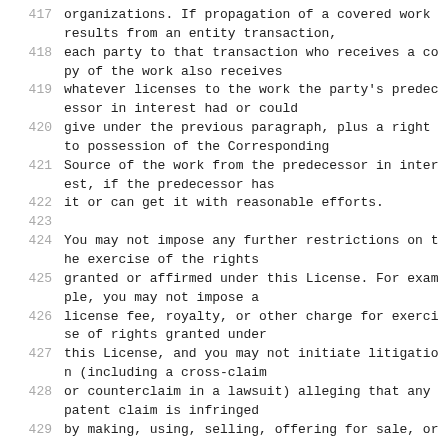417   organizations. If propagation of a covered work results from an entity transaction,
418   each party to that transaction who receives a copy of the work also receives
419   whatever licenses to the work the party's predecessor in interest had or could
420   give under the previous paragraph, plus a right to possession of the Corresponding
421   Source of the work from the predecessor in interest, if the predecessor has
422   it or can get it with reasonable efforts.
423
424   You may not impose any further restrictions on the exercise of the rights
425   granted or affirmed under this License. For example, you may not impose a
426   license fee, royalty, or other charge for exercise of rights granted under
427   this License, and you may not initiate litigation (including a cross-claim
428   or counterclaim in a lawsuit) alleging that any patent claim is infringed
429   by making, using, selling, offering for sale, or...